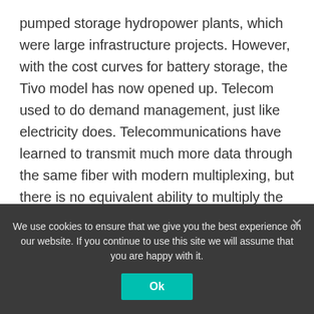pumped storage hydropower plants, which were large infrastructure projects. However, with the cost curves for battery storage, the Tivo model has now opened up. Telecom used to do demand management, just like electricity does. Telecommunications have learned to transmit much more data through the same fiber with modern multiplexing, but there is no equivalent ability to multiply the current flowing through a wire.
Silicon Valley did not get the basic physicality of energy infrastructure and thought it could be easily disrupted as data and media. They lacked that the interruption in the flow of electricity...
We use cookies to ensure that we give you the best experience on our website. If you continue to use this site we will assume that you are happy with it.